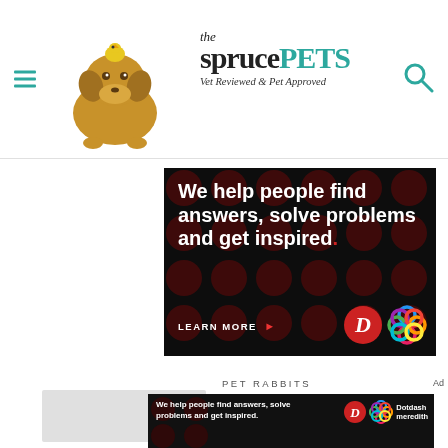the spruce PETS — Vet Reviewed & Pet Approved
[Figure (screenshot): Dotdash Meredith advertisement banner: black background with dark red polka dots, white bold text reading 'We help people find answers, solve problems and get inspired.' with a red LEARN MORE button, Dotdash D logo in red circle, and colorful Meredith knot logo]
PET RABBITS
[Figure (screenshot): Bottom Dotdash Meredith advertisement banner: black background, white text 'We help people find answers, solve problems and get inspired.' with D logo and Dotdash meredith branding]